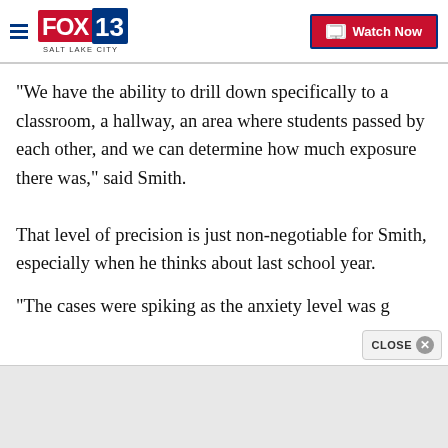FOX 13 SALT LAKE CITY | Watch Now
“We have the ability to drill down specifically to a classroom, a hallway, an area where students passed by each other, and we can determine how much exposure there was,” said Smith.
That level of precision is just non-negotiable for Smith, especially when he thinks about last school year.
“The cases were spiking as the anxiety level was g